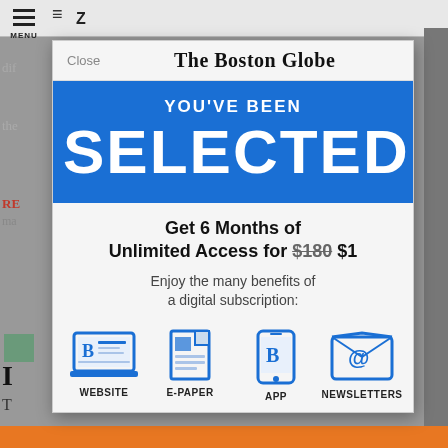[Figure (screenshot): Screenshot of The Boston Globe website subscription modal overlay on a mobile browser. The modal shows 'YOU'VE BEEN SELECTED' on a blue banner, an offer for '6 Months of Unlimited Access for $180 $1' (with $180 struck through), and benefit icons for WEBSITE, E-PAPER, APP, and NEWSLETTERS. Behind the modal is a partially visible article page with blurred text and navigation elements.]